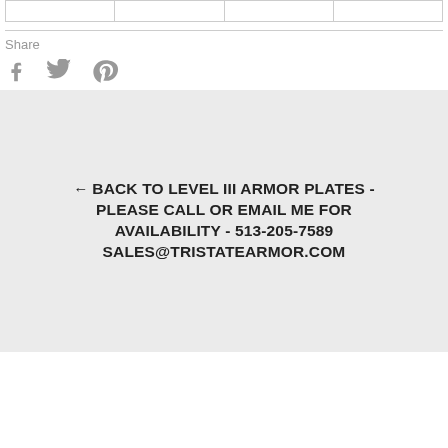|   |   |   |   |
Share
[Figure (illustration): Social share icons: Facebook (f), Twitter (bird), Pinterest (p circle)]
← BACK TO LEVEL III ARMOR PLATES - PLEASE CALL OR EMAIL ME FOR AVAILABILITY - 513-205-7589 SALES@TRISTATEARMOR.COM